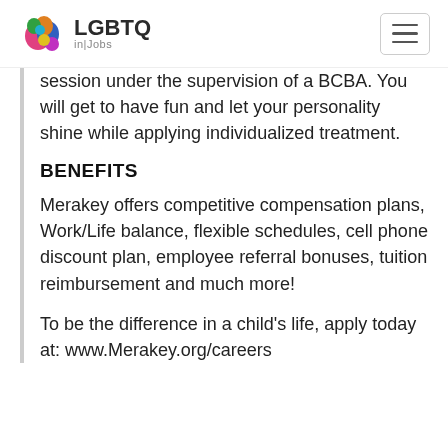LGBTQ in Jobs
session under the supervision of a BCBA. You will get to have fun and let your personality shine while applying individualized treatment.
BENEFITS
Merakey offers competitive compensation plans, Work/Life balance, flexible schedules, cell phone discount plan, employee referral bonuses, tuition reimbursement and much more!
To be the difference in a child's life, apply today at: www.Merakey.org/careers